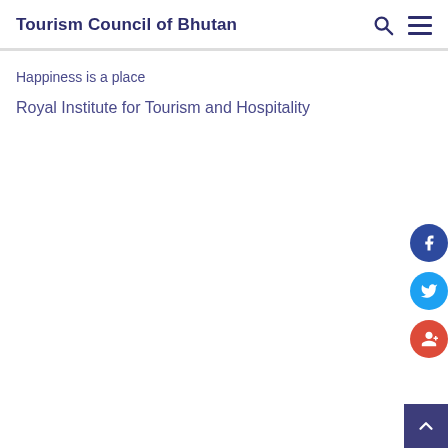Tourism Council of Bhutan
Happiness is a place
Royal Institute for Tourism and Hospitality
[Figure (other): Social media icons: Facebook (blue circle), Twitter (light blue circle), Google+ (red circle), and a back-to-top arrow button (dark blue square)]